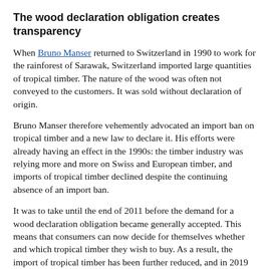The wood declaration obligation creates transparency
When Bruno Manser returned to Switzerland in 1990 to work for the rainforest of Sarawak, Switzerland imported large quantities of tropical timber. The nature of the wood was often not conveyed to the customers. It was sold without declaration of origin.
Bruno Manser therefore vehemently advocated an import ban on tropical timber and a new law to declare it. His efforts were already having an effect in the 1990s: the timber industry was relying more and more on Swiss and European timber, and imports of tropical timber declined despite the continuing absence of an import ban.
It was to take until the end of 2011 before the demand for a wood declaration obligation became generally accepted. This means that consumers can now decide for themselves whether and which tropical timber they wish to buy. As a result, the import of tropical timber has been further reduced, and in 2019 parliament also decided to ban the import of illegal timber.
Avoid tropical timber and buy products made from Swiss timber wherever possible.
The FSC label stands for sustainable forest management, but